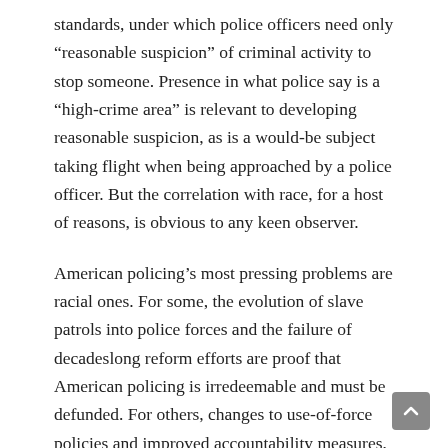standards, under which police officers need only “reasonable suspicion” of criminal activity to stop someone. Presence in what police say is a “high-crime area” is relevant to developing reasonable suspicion, as is a would-be subject taking flight when being approached by a police officer. But the correlation with race, for a host of reasons, is obvious to any keen observer.
American policing’s most pressing problems are racial ones. For some, the evolution of slave patrols into police forces and the failure of decadeslong reform efforts are proof that American policing is irredeemable and must be defunded. For others, changes to use-of-force policies and improved accountability measures, like those in the proposed George Floyd Justice in Policing Act, are